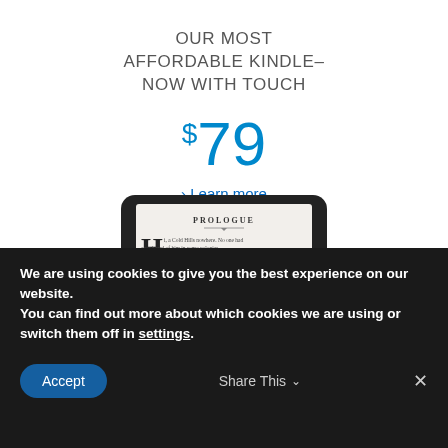OUR MOST AFFORDABLE KINDLE–NOW WITH TOUCH
$79
> Learn more
[Figure (photo): Kindle e-reader device showing a book prologue page with a large drop cap H and a finger touching the screen]
We are using cookies to give you the best experience on our website.
You can find out more about which cookies we are using or switch them off in settings.
Accept
Share This
✕